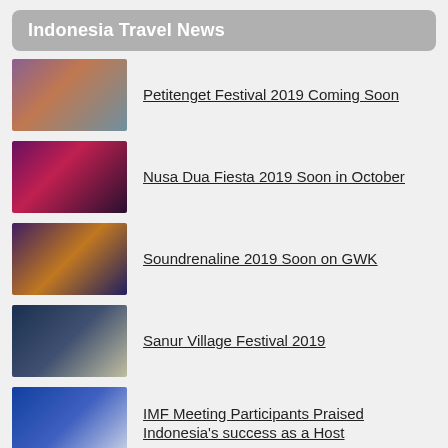Indonesia Travel News
Petitenget Festival 2019 Coming Soon
Nusa Dua Fiesta 2019 Soon in October
Soundrenaline 2019 Soon on GWK
Sanur Village Festival 2019
IMF Meeting Participants Praised Indonesia's success as a Host
Soundrenaline 2018 Asia Biggest Music